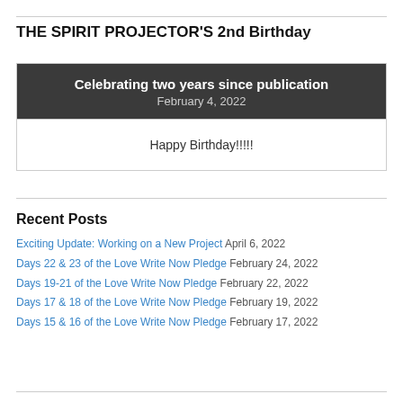THE SPIRIT PROJECTOR'S 2nd Birthday
[Figure (other): Dark header card with centered text 'Celebrating two years since publication' and 'February 4, 2022', followed by a white content area with 'Happy Birthday!!!!!']
Recent Posts
Exciting Update: Working on a New Project April 6, 2022
Days 22 & 23 of the Love Write Now Pledge February 24, 2022
Days 19-21 of the Love Write Now Pledge February 22, 2022
Days 17 & 18 of the Love Write Now Pledge February 19, 2022
Days 15 & 16 of the Love Write Now Pledge February 17, 2022